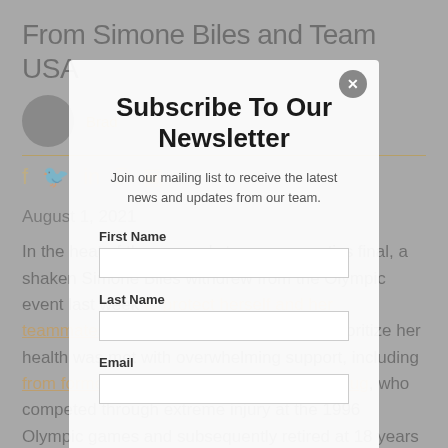From Simone Biles and Team USA
Brad [author name partial]
August 1, 2021
In the heat of the women's team gymnastics final, a shaken Simone Biles withdrew from the Olympic event last week to protect herself and her teammates. Her courageous decision to prioritize her health was met with overwhelming support, including from former U.S. Olympic gymnast Kerri Strug, who competed through extreme injury at the 1996 Olympic games and subsequently retired at 18 years old.
Subscribe To Our Newsletter
Join our mailing list to receive the latest news and updates from our team.
First Name
Last Name
Email